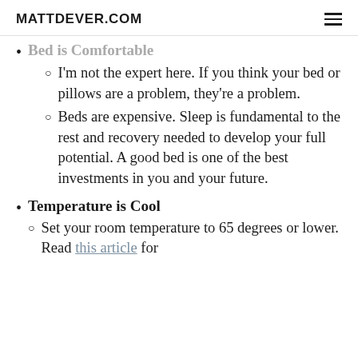MATTDEVER.COM
Bed is Comfortable
I'm not the expert here.  If you think your bed or pillows are a problem, they're a problem.
Beds are expensive.  Sleep is fundamental to the rest and recovery needed to develop your full potential.  A good bed is one of the best investments in you and your future.
Temperature is Cool
Set your room temperature to 65 degrees or lower.  Read this article for details.